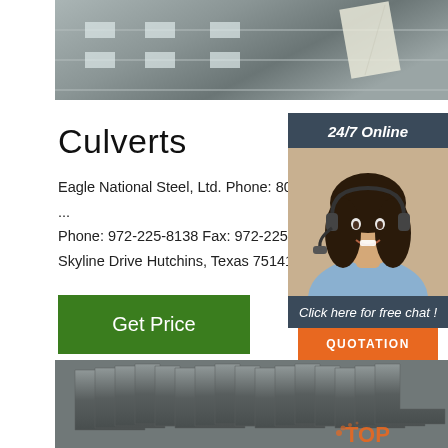[Figure (photo): Top photo showing stainless steel sheets stacked, with white label tags]
Culverts
Eagle National Steel, Ltd. Phone: 800-2... Phone: 972-225-8138 Fax: 972-225-740 Skyline Drive Hutchins, Texas 75141
[Figure (photo): 24/7 Online sidebar with woman wearing headset, Click here for free chat!, QUOTATION button]
Get Price
[Figure (photo): Bottom photo showing stacks of steel angle iron pieces with TOP watermark]